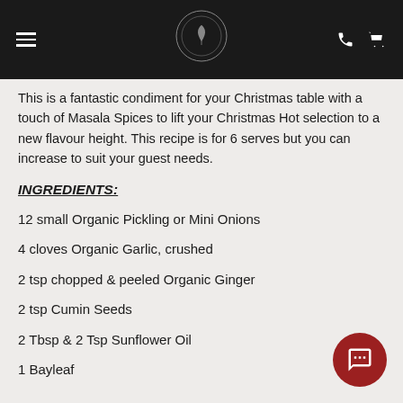Navigation header with menu, logo, phone and cart icons
This is a fantastic condiment for your Christmas table with a touch of Masala Spices to lift your Christmas Hot selection to a new flavour height. This recipe is for 6 serves but you can increase to suit your guest needs.
INGREDIENTS:
12 small Organic Pickling or Mini Onions
4 cloves Organic Garlic, crushed
2 tsp chopped & peeled Organic Ginger
2 tsp Cumin Seeds
2 Tbsp & 2 Tsp Sunflower Oil
1 Bayleaf